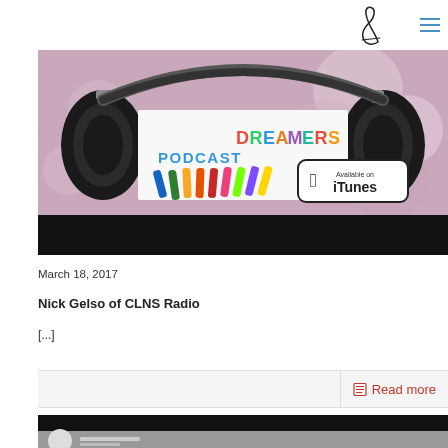[Figure (logo): Cursive signature logo mark in dark ink]
[Figure (illustration): Dreamers Podcast banner image showing headphones around colorful markers/pens with 'DREAMERS PODCAST' text and an 'Available on iTunes' badge on a bokeh background. Bottom portion is black.]
March 18, 2017
Nick Gelso of CLNS Radio
[...]
Read more
[Figure (screenshot): Bottom partial image strip showing black area and beginning of another podcast or video thumbnail]